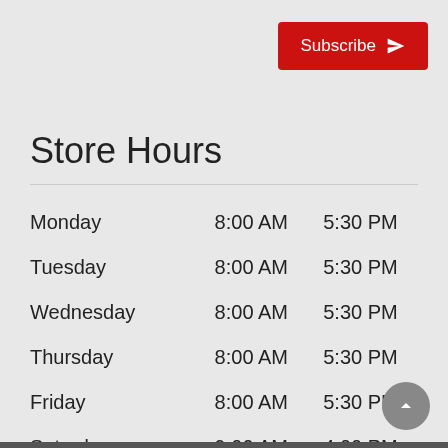[Figure (other): Red subscribe button with paper airplane icon in top-right corner]
Store Hours
| Day | Open | Close |
| --- | --- | --- |
| Monday | 8:00 AM | 5:30 PM |
| Tuesday | 8:00 AM | 5:30 PM |
| Wednesday | 8:00 AM | 5:30 PM |
| Thursday | 8:00 AM | 5:30 PM |
| Friday | 8:00 AM | 5:30 PM |
| Saturday | 9:00 AM | 4:00 PM |
| Sunday | CLOSED | CLOSED |